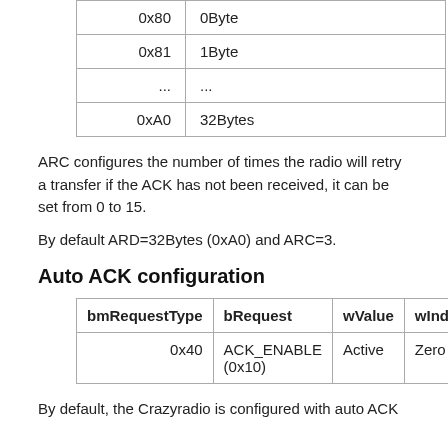|  |  |
| --- | --- |
| 0x80 | 0Byte |
| 0x81 | 1Byte |
| ... | ... |
| 0xA0 | 32Bytes |
ARC configures the number of times the radio will retry a transfer if the ACK has not been received, it can be set from 0 to 15.
By default ARD=32Bytes (0xA0) and ARC=3.
Auto ACK configuration
| bmRequestType | bRequest | wValue | wIndex |
| --- | --- | --- | --- |
| 0x40 | ACK_ENABLE (0x10) | Active | Zero |
By default, the Crazyradio is configured with auto ACK